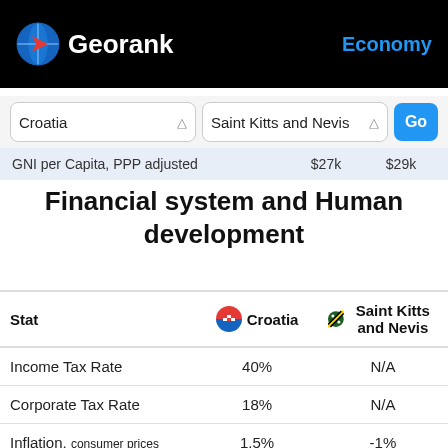Georank — Economy
Croatia | Saint Kitts and Nevis | Go
GNI per Capita, PPP adjusted  $27k  $29k
Financial system and Human development
| Stat | Croatia | Saint Kitts and Nevis |
| --- | --- | --- |
| Income Tax Rate | 40% | N/A |
| Corporate Tax Rate | 18% | N/A |
| Inflation, consumer prices | 1.5% | -1% |
| Inflation, GDP deflator | 1.8% | -1.5% |
| Unemployment | 8.9% | 5.1% |